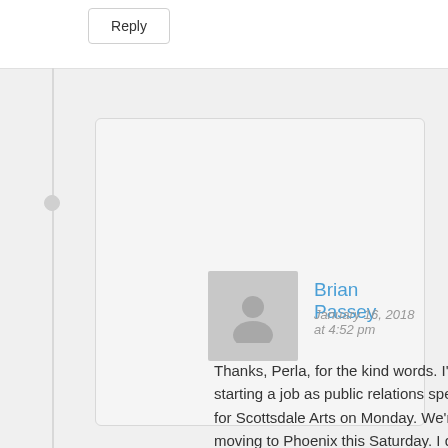Reply
Brian Passey
January 16, 2018 at 4:52 pm
Thanks, Perla, for the kind words. I'll be starting a job as public relations specialist for Scottsdale Arts on Monday. We're moving to Phoenix this Saturday. I do hope to continue writing on this blog, but it might be a little more Arizona-centric from now on.
Reply